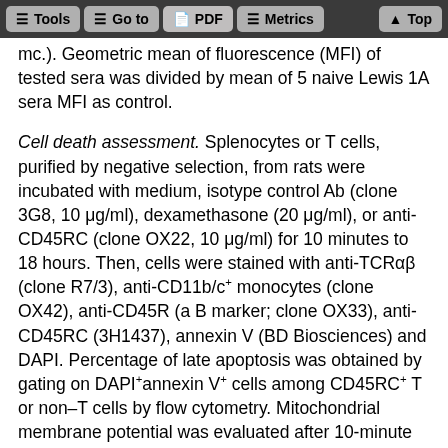Tools | Go to | PDF | Metrics | Top
mc.). Geometric mean of fluorescence (MFI) of tested sera was divided by mean of 5 naive Lewis 1A sera MFI as control.
Cell death assessment. Splenocytes or T cells, purified by negative selection, from rats were incubated with medium, isotype control Ab (clone 3G8, 10 μg/ml), dexamethasone (20 μg/ml), or anti-CD45RC (clone OX22, 10 μg/ml) for 10 minutes to 18 hours. Then, cells were stained with anti-TCRαβ (clone R7/3), anti-CD11b/c+ monocytes (clone OX42), anti-CD45R (a B marker; clone OX33), anti-CD45RC (3H1437), annexin V (BD Biosciences) and DAPI. Percentage of late apoptosis was obtained by gating on DAPI+annexin V+ cells among CD45RC+ T or non–T cells by flow cytometry. Mitochondrial membrane potential was evaluated after 10-minute